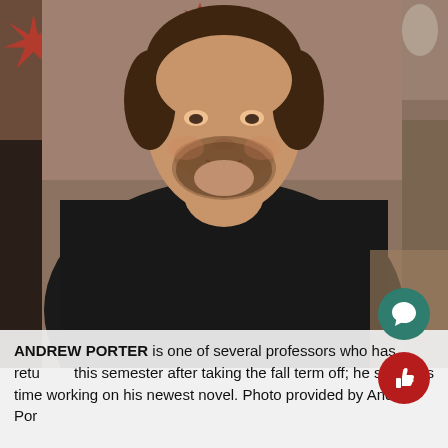[Figure (photo): A man with short brown hair and beard wearing a black sweater, seated indoors, smiling slightly. Background shows a decorative red and white pattern and some glass/furniture elements.]
ANDREW PORTER is one of several professors who has returned this semester after taking the fall term off; he spent his time working on his newest novel. Photo provided by Andrew Porter